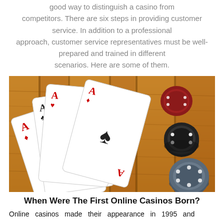good way to distinguish a casino from competitors. There are six steps in providing customer service. In addition to a professional approach, customer service representatives must be well-prepared and trained in different scenarios. Here are some of them.
[Figure (photo): A photo of four aces playing cards fanned out on a wooden table surface, with casino chips (red, black, and grey/blue) scattered to the right.]
When Were The First Online Casinos Born?
Online casinos made their appearance in 1995 and